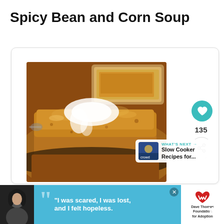Spicy Bean and Corn Soup
[Figure (photo): Close-up photo of a golden-brown slice of cornbread with melted butter on top, served in a cast iron skillet, with a glass baking dish of more cornbread in the background]
135
WHAT'S NEXT → Slow Cooker Recipes for...
"I was scared, I was lost, and I felt hopeless."
[Figure (logo): Dave Thomas Foundation for Adoption logo]